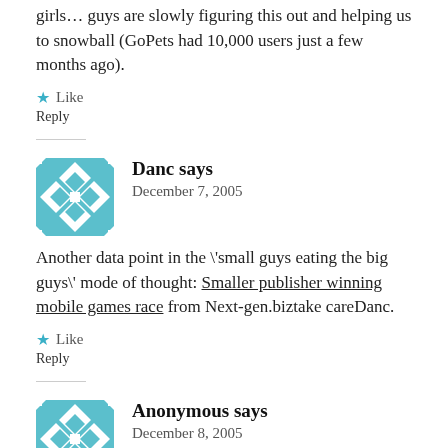girls… guys are slowly figuring this out and helping us to snowball (GoPets had 10,000 users just a few months ago).
Like
Reply
Danc says
December 7, 2005
Another data point in the \'small guys eating the big guys\' mode of thought: Smaller publisher winning mobile games race from Next-gen.biztake careDanc.
Like
Reply
Anonymous says
December 8, 2005